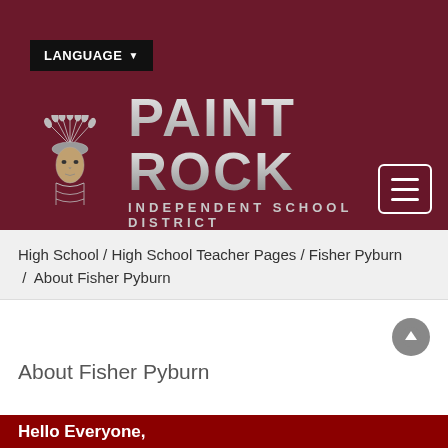[Figure (logo): Paint Rock Independent School District logo with Native American chief mascot on dark maroon background]
LANGUAGE ▼
High School / High School Teacher Pages / Fisher Pyburn / About Fisher Pyburn
About Fisher Pyburn
Hello Everyone,